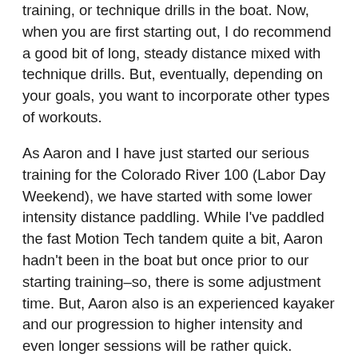training, or technique drills in the boat. Now, when you are first starting out, I do recommend a good bit of long, steady distance mixed with technique drills. But, eventually, depending on your goals, you want to incorporate other types of workouts.
As Aaron and I have just started our serious training for the Colorado River 100 (Labor Day Weekend), we have started with some lower intensity distance paddling. While I've paddled the fast Motion Tech tandem quite a bit, Aaron hadn't been in the boat but once prior to our starting training–so, there is some adjustment time. But, Aaron also is an experienced kayaker and our progression to higher intensity and even longer sessions will be rather quick.
This evening, I opted to break things up a bit by